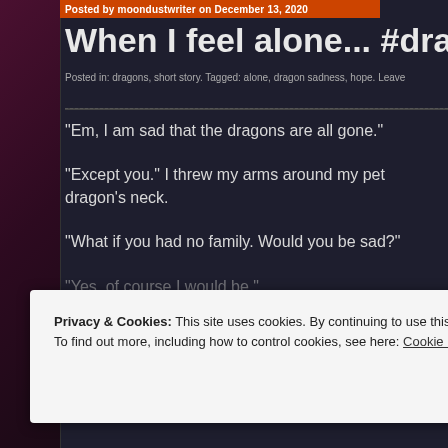Posted by moondustwriter on December 13, 2020
When I feel alone... #dragons
Posted in: dragons, short story. Tagged: alone, dragon sadness, hope. Leave
“Em, I am sad that the dragons are all gone.”
“Except you.” I threw my arms around my pet dragon’s neck.
“What if you had no family. Would you be sad?”
“Yes, of course I would be.”
Privacy & Cookies: This site uses cookies. By continuing to use this website, you agree to their use.
To find out more, including how to control cookies, see here: Cookie Policy
Close and accept